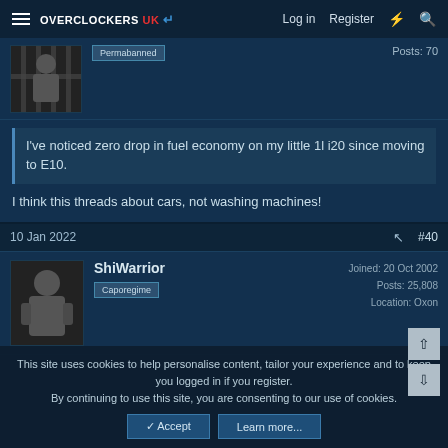Overclockers UK — Log in | Register
Permabanned   Posts: 70
I've noticed zero drop in fuel economy on my little 1l i20 since moving to E10.
I think this threads about cars, not washing machines!
10 Jan 2022   #40
ShiWarrior
Caporegime
Joined: 20 Oct 2002
Posts: 25,808
Location: Oxon
This site uses cookies to help personalise content, tailor your experience and to keep you logged in if you register.
By continuing to use this site, you are consenting to our use of cookies.